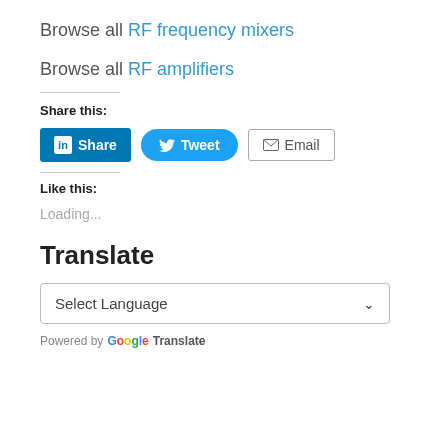Browse all RF frequency mixers
Browse all RF amplifiers
Share this:
[Figure (other): Social share buttons: LinkedIn Share, Tweet, and Email buttons]
Like this:
Loading...
Translate
Select Language
Powered by Google Translate